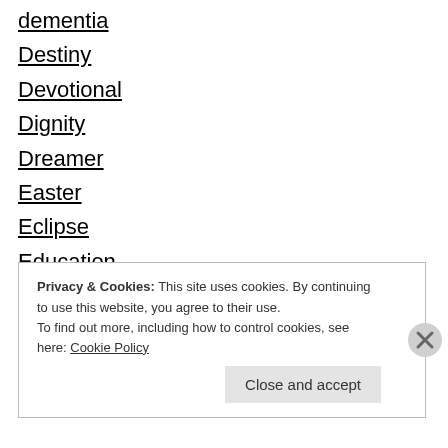dementia
Destiny
Devotional
Dignity
Dreamer
Easter
Eclipse
Education
Election
Embarrassment
encouragement
Privacy & Cookies: This site uses cookies. By continuing to use this website, you agree to their use.
To find out more, including how to control cookies, see here: Cookie Policy
Close and accept